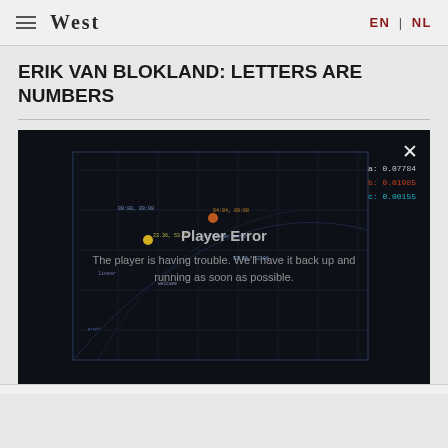West  EN | NL
ERIK VAN BLOKLAND: LETTERS ARE NUMBERS
[Figure (screenshot): Dark video player frame showing a technical/blueprint-style visualization with colored data points and overlaid numbers (a: 0.07784, b: 0.01985, c: 0.00155). A 'Player Error' message is displayed in the center with text: 'The player is having trouble. We'll have it back up and running as soon as possible.' A white X close button is in the top-right corner.]